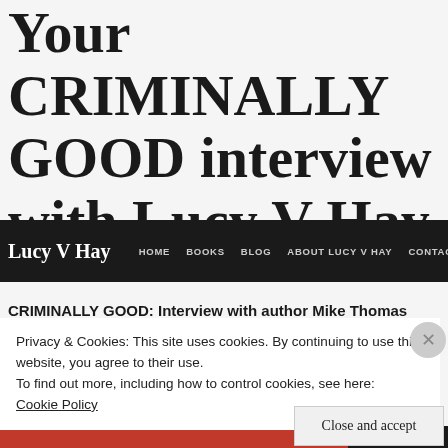Your CRIMINALLY GOOD interview with Lucy V Hay
[Figure (screenshot): Website navigation bar for Lucy V Hay with dark background, showing logo 'Lucy V Hay' and nav links: HOME, BOOKS, BLOG, ABOUT LUCY V HAY, CONTACT]
CRIMINALLY GOOD: Interview with author Mike Thomas
Privacy & Cookies: This site uses cookies. By continuing to use this website, you agree to their use.
To find out more, including how to control cookies, see here:
Cookie Policy
Close and accept